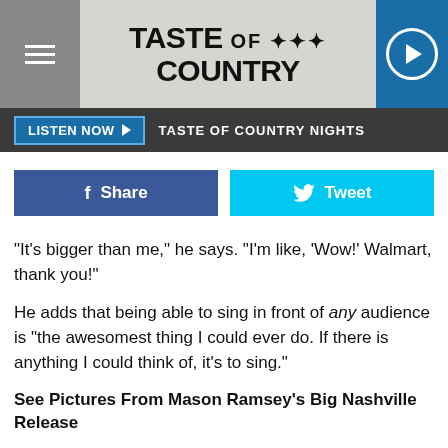[Figure (screenshot): Taste of Country website header with hamburger menu, logo, and play button]
LISTEN NOW ▶  TASTE OF COUNTRY NIGHTS
[Figure (screenshot): Facebook Share and Twitter Tweet social sharing buttons]
"It's bigger than me," he says. "I'm like, 'Wow!' Walmart, thank you!"
He adds that being able to sing in front of any audience is "the awesomest thing I could ever do. If there is anything I could think of, it's to sing."
See Pictures From Mason Ramsey's Big Nashville Release